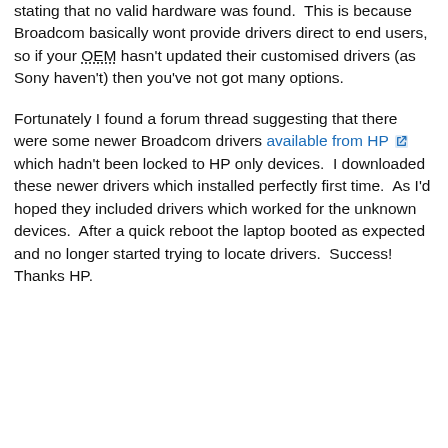stating that no valid hardware was found.  This is because Broadcom basically wont provide drivers direct to end users, so if your OEM hasn't updated their customised drivers (as Sony haven't) then you've not got many options.
Fortunately I found a forum thread suggesting that there were some newer Broadcom drivers available from HP which hadn't been locked to HP only devices.  I downloaded these newer drivers which installed perfectly first time.  As I'd hoped they included drivers which worked for the unknown devices.  After a quick reboot the laptop booted as expected and no longer started trying to locate drivers.  Success!  Thanks HP.